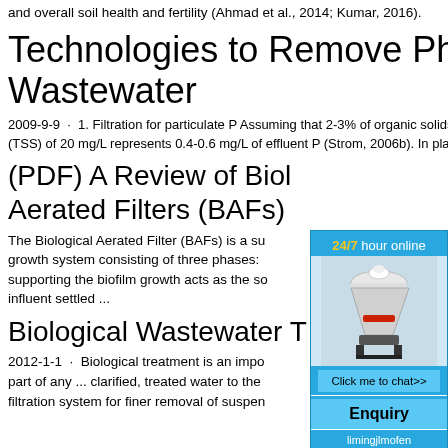and overall soil health and fertility (Ahmad et al., 2014; Kumar, 2016).
Technologies to Remove Phosphorus from Wastewater
2009-9-9 · 1. Filtration for particulate P Assuming that 2-3% of organic solids is P, then an effluent total suspended solids (TSS) of 20 mg/L represents 0.4-0.6 mg/L of effluent P (Strom, 2006b). In plants with EBPR the P content us
(PDF) A Review of Biological Aerated Filters (BAFs)
The Biological Aerated Filter (BAFs) is a submerged growth system consisting of three phases: supporting the biofilm growth acts as the so influent settled ...
Biological Wastewater Treatment
2012-1-1 · Biological treatment is an important part of any ... clarified, treated water to the filtration system for finer removal of suspended
[Figure (other): Advertisement widget showing a cone crusher machine with '24/7 hour online' text, a 'Click me to chat>>' button, and 'Enquiry' and 'limingjlmofen' labels on a blue background.]